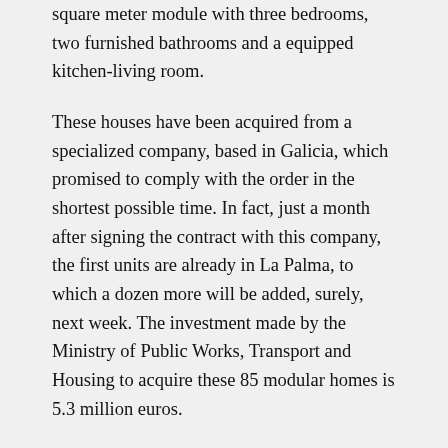square meter module with three bedrooms, two furnished bathrooms and a equipped kitchen-living room.
These houses have been acquired from a specialized company, based in Galicia, which promised to comply with the order in the shortest possible time. In fact, just a month after signing the contract with this company, the first units are already in La Palma, to which a dozen more will be added, surely, next week. The investment made by the Ministry of Public Works, Transport and Housing to acquire these 85 modular homes is 5.3 million euros.
Upon arrival on the island, after ten days of sailing from Galicia, the installation teams will be in charge of undertaking the assembly work on a plot that is being completed in the municipalities...